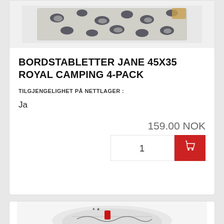[Figure (photo): Leopard print placemat product image, partially cropped at top]
BORDSTABLETTER JANE 45X35 ROYAL CAMPING 4-PACK
TILGJENGELIGHET PÅ NETTLAGER :
Ja
159.00 NOK
[Figure (screenshot): Quantity input field showing 1 and red add-to-cart button with shopping cart icon]
[Figure (photo): Second product with illustrated/patterned design, partially visible at bottom]